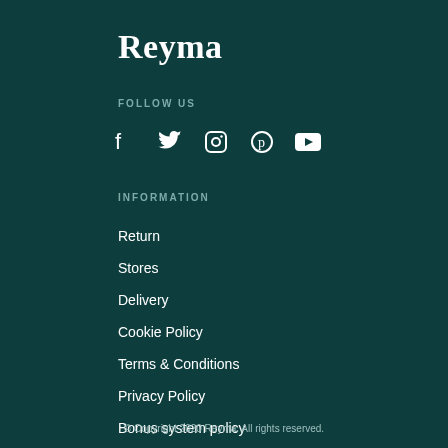Reyma
FOLLOW US
[Figure (other): Social media icons: Facebook, Twitter, Instagram, Pinterest, YouTube]
INFORMATION
Return
Stores
Delivery
Cookie Policy
Terms & Conditions
Privacy Policy
Bonus system policy
© Copyright 2020 Reyma. All rights reserved.